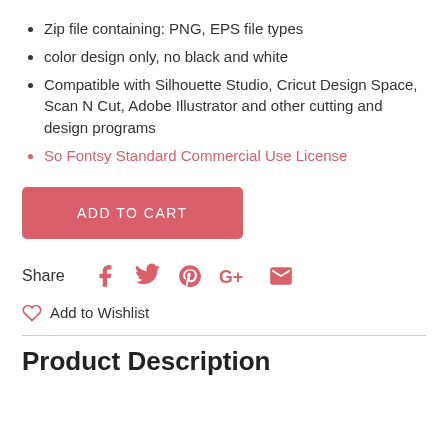Zip file containing: PNG, EPS file types
color design only, no black and white
Compatible with Silhouette Studio, Cricut Design Space, Scan N Cut, Adobe Illustrator and other cutting and design programs
So Fontsy Standard Commercial Use License
ADD TO CART
Share
Add to Wishlist
Product Description